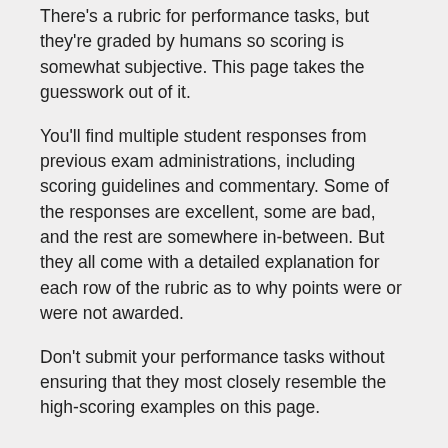There's a rubric for performance tasks, but they're graded by humans so scoring is somewhat subjective. This page takes the guesswork out of it.
You'll find multiple student responses from previous exam administrations, including scoring guidelines and commentary. Some of the responses are excellent, some are bad, and the rest are somewhere in-between. But they all come with a detailed explanation for each row of the rubric as to why points were or were not awarded.
Don't submit your performance tasks without ensuring that they most closely resemble the high-scoring examples on this page.
Teachers are limited in the type of questions they can